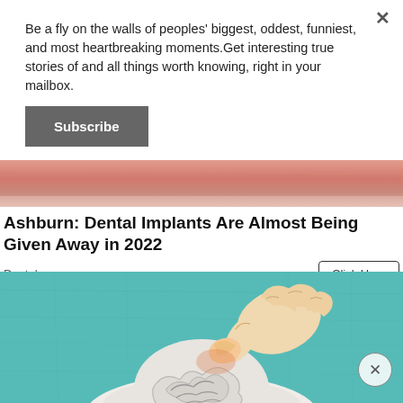Be a fly on the walls of peoples' biggest, oddest, funniest, and most heartbreaking moments.Get interesting true stories of and all things worth knowing, right in your mailbox.
Subscribe
[Figure (photo): Pink/salmon colored textured background, close-up skin texture banner image]
Ashburn: Dental Implants Are Almost Being Given Away in 2022
Dental
Click Here
[Figure (illustration): Illustration on teal/turquoise background showing a hand pressing on a white-clothed figure's head, with brain-like swirl patterns. Close-up artistic illustration style.]